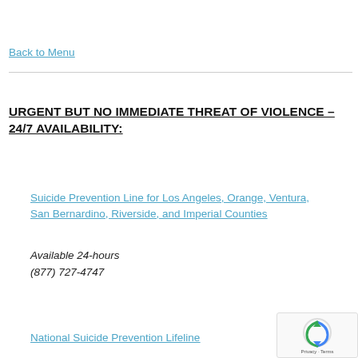Back to Menu
URGENT BUT NO IMMEDIATE THREAT OF VIOLENCE – 24/7 AVAILABILITY:
Suicide Prevention Line for Los Angeles, Orange, Ventura, San Bernardino, Riverside, and Imperial Counties
Available 24-hours
(877) 727-4747
National Suicide Prevention Lifeline